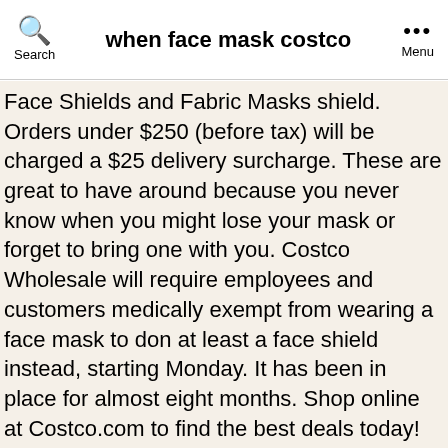when face mask costco
Face Shields and Fabric Masks shield. Orders under $250 (before tax) will be charged a $25 delivery surcharge. These are great to have around because you never know when you might lose your mask or forget to bring one with you. Costco Wholesale will require employees and customers medically exempt from wearing a face mask to don at least a face shield instead, starting Monday. It has been in place for almost eight months. Shop online at Costco.com to find the best deals today! Costco has had a face mask policy in effect since 4 May, 2020, but members who could not wear a mask due to a medical condition were exempt. Costco Updates COVID Mask Policy With Face Shields By Carolyn Crist November 16, 2020 -- Starting on Monday, Costco shoppers who have a medical condition will be required to wear a face … 32 Degrees Adult Unisex Face Cover, 8-pack Regular Size/Medium Stretch Fabric and Ear Loops for Added Comfort Single Ply Fabric Consists of a 3 Layer